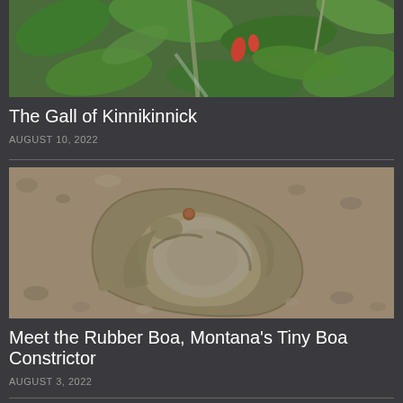[Figure (photo): Close-up photo of kinnikinnick plant with red berries and green leaves]
The Gall of Kinnikinnick
AUGUST 10, 2022
[Figure (photo): A coiled rubber boa snake on sandy/gravelly ground]
Meet the Rubber Boa, Montana's Tiny Boa Constrictor
AUGUST 3, 2022